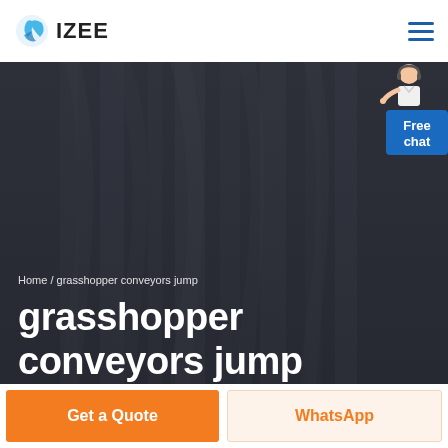IZEE
[Figure (photo): Dark hero banner image showing a person wearing a black and white striped shirt, monochrome/dark overlay. Contains breadcrumb navigation 'Home / grasshopper conveyors jump' and large bold white title text 'grasshopper conveyors jump'. A Free chat widget with a support agent illustration appears in the top-right corner.]
Home / grasshopper conveyors jump
grasshopper conveyors jump
Get a Quote
WhatsApp